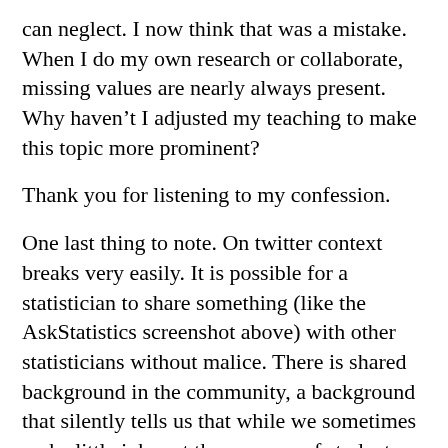can neglect. I now think that was a mistake. When I do my own research or collaborate, missing values are nearly always present. Why haven’t I adjusted my teaching to make this topic more prominent?
Thank you for listening to my confession.
One last thing to note. On twitter context breaks very easily. It is possible for a statistician to share something (like the AskStatistics screenshot above) with other statisticians without malice. There is shared background in the community, a background that silently tells us that while we sometimes make little jokes at the expense of students and researchers, we remain committed to helping. It’s a bit like nurses complaining about patients.